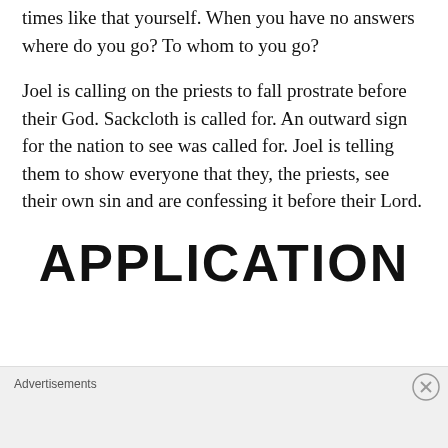times like that yourself. When you have no answers where do you go? To whom to you go?
Joel is calling on the priests to fall prostrate before their God. Sackcloth is called for. An outward sign for the nation to see was called for. Joel is telling them to show everyone that they, the priests, see their own sin and are confessing it before their Lord.
APPLICATION
Advertisements